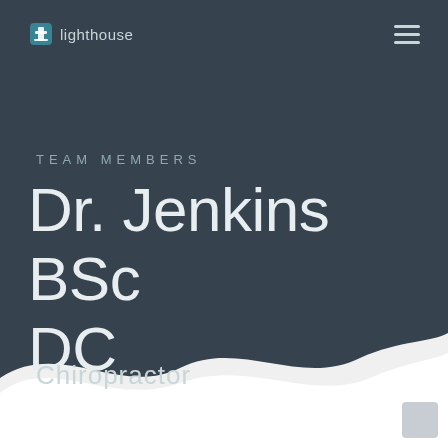[Figure (logo): Lighthouse logo with lighthouse icon and text 'lighthouse']
TEAM MEMBERS
Dr. Jenkins BSc DC
Chiropractor